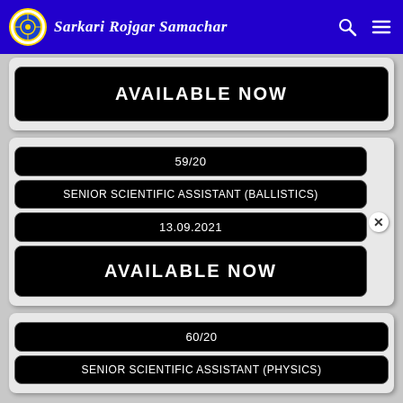Sarkari Rojgar Samachar
AVAILABLE NOW
59/20
SENIOR SCIENTIFIC ASSISTANT (BALLISTICS)
13.09.2021
AVAILABLE NOW
60/20
SENIOR SCIENTIFIC ASSISTANT (PHYSICS)